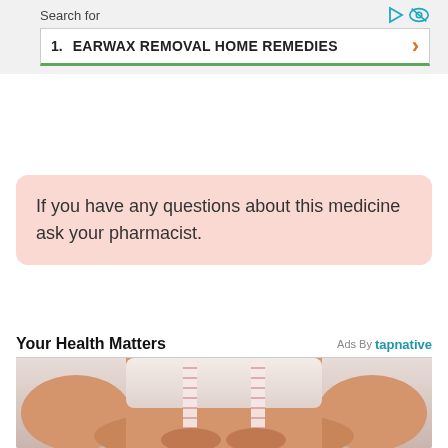AD
Search for
1. EARWAX REMOVAL HOME REMEDIES
If you have any questions about this medicine ask your pharmacist.
Your Health Matters
Ads By tapnative
[Figure (photo): Person wearing white bra with measuring tape around their midsection, holding belly fat with both hands, against a light gray background.]